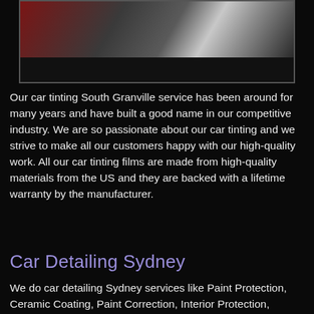[Figure (photo): A person polishing or working on a car, shown from above, with dark and reddish tones in the background.]
Our car tinting South Granville service has been around for many years and have built a good name in our competitive industry. We are so passionate about our car tinting and we strive to make all our customers happy with our high-quality work. All our car tinting films are made from high-quality materials from the US and they are backed with a lifetime warranty by the manufacturer.
Car Detailing Sydney
We do car detailing Sydney services like Paint Protection, Ceramic Coating, Paint Correction, Interior Protection, Interior Shampoo, Car